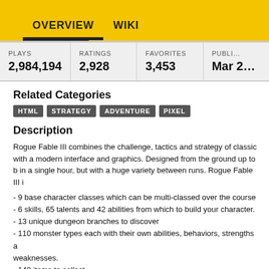OVERVIEW   WIKI
| PLAYS | RATINGS | FAVORITES | PUBLI... |
| --- | --- | --- | --- |
| 2,984,194 | 2,928 | 3,453 | Mar ... |
Related Categories
HTML
STRATEGY
ADVENTURE
PIXEL
Description
Rogue Fable III combines the challenge, tactics and strategy of classic with a modern interface and graphics. Designed from the ground up to be played in a single hour, but with a huge variety between runs. Rogue Fable III i
- 9 base character classes which can be multi-classed over the course
- 6 skills, 65 talents and 42 abilities from which to build your character.
- 13 unique dungeon branches to discover
- 110 monster types each with their own abilities, behaviors, strengths and weaknesses.
- 140 items to collect.
Rogue Fable III is now in active, continuous development on Steam Ea and will be receiving updates, improvements, and new content there. Th version is, nonetheless, a completed game in itself and will continue to